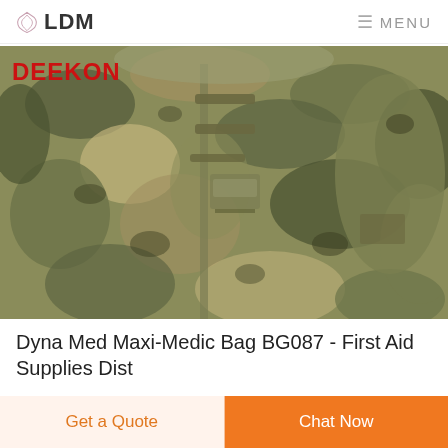LDM  ≡ MENU
[Figure (photo): Military camouflage uniform jacket (multicam pattern) torso view with DEEKON brand logo in red text overlaid on upper left]
Dyna Med Maxi-Medic Bag BG087 - First Aid Supplies Distributor
Get a Quote
Chat Now